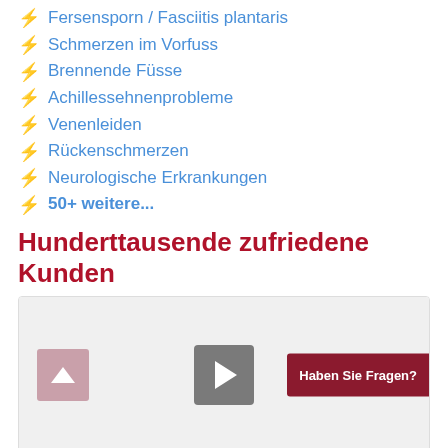⚡ Fersensporn / Fasciitis plantaris
⚡ Schmerzen im Vorfuss
⚡ Brennende Füsse
⚡ Achillessehnenprobleme
⚡ Venenleiden
⚡ Rückenschmerzen
⚡ Neurologische Erkrankungen
⚡ 50+ weitere...
Hunderttausende zufriedene Kunden
[Figure (screenshot): Video player placeholder with play button, up arrow button, and 'Haben Sie Fragen?' call-to-action button]